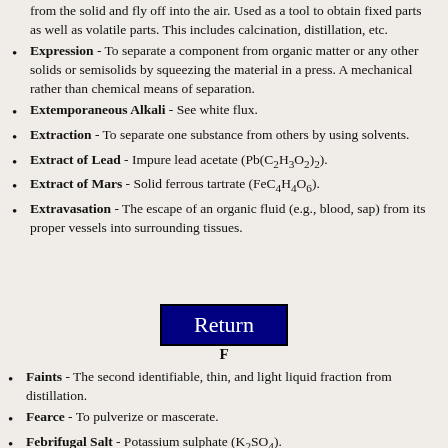from the solid and fly off into the air. Used as a tool to obtain fixed parts as well as volatile parts. This includes calcination, distillation, etc.
Expression - To separate a component from organic matter or any other solids or semisolids by squeezing the material in a press. A mechanical rather than chemical means of separation.
Extemporaneous Alkali - See white flux.
Extraction - To separate one substance from others by using solvents.
Extract of Lead - Impure lead acetate (Pb(C2H3O2)2).
Extract of Mars - Solid ferrous tartrate (FeC4H4O6).
Extravasation - The escape of an organic fluid (e.g., blood, sap) from its proper vessels into surrounding tissues.
[Figure (other): Return navigation button with dark blue background and white text]
F
Faints - The second identifiable, thin, and light liquid fraction from distillation.
Fearce - To pulverize or mascerate.
Febrifugal Salt - Potassium sulphate (K2SO4).
Febrifugal Salt of Sylvius - Potassium chloride (KCl).